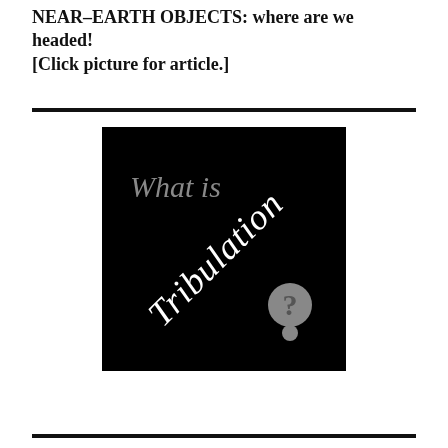NEAR-EARTH OBJECTS: where are we headed! [Click picture for article.]
[Figure (illustration): Black square image with text 'What is Tribulation?' — 'What is' in gray serif font and 'Tribulation' in white stylized rotated text, with a gray question mark]